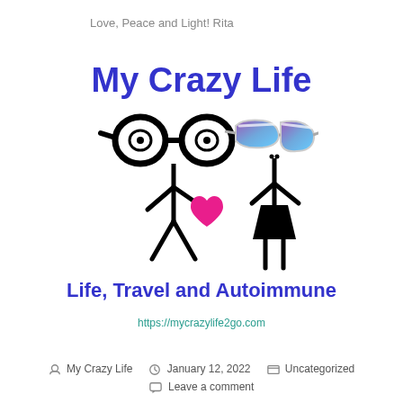Love, Peace and Light! Rita
My Crazy Life
[Figure (illustration): Two stick figures — male with round glasses and female with blue aviator sunglasses — with a pink heart between them]
Life, Travel and Autoimmune
https://mycrazylife2go.com
My Crazy Life   January 12, 2022   Uncategorized
Leave a comment